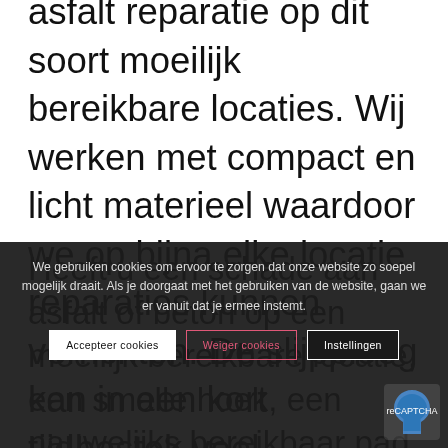asfalt reparatie op dit soort moeilijk bereikbare locaties. Wij werken met compact en licht materieel waardoor we op bijna elke locatie reparaties kunnen verrichten. De slijpploeg kan in een kort tijdbestek veel reparaties verrichten. Dit alles in combinatie met onze expertise zorgt ervoor dat we u reparaties op maat kunnen aanbieden voor een aantrekkelijke prijs.
Heeft u een schade aan asfalt of beton op een moeilijk bereikbare locatie, een smalle hoek, een nauwelijks bereikbaar pad, aan
We gebruiken cookies om ervoor te zorgen dat onze website zo soepel mogelijk draait. Als je doorgaat met het gebruiken van de website, gaan we er vanuit dat je ermee instemt.